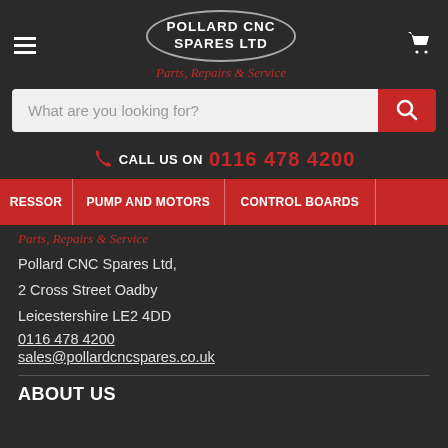[Figure (logo): Pollard CNC Spares Ltd logo in oval border with tagline 'Parts, Repairs & Service' below]
What are you looking for?
CALL US ON 0116 478 4200
RESSOR | PUMP AND MOTORS | CONTROL BOARDS
Parts, Repairs & Service
Pollard CNC Spares Ltd, 2 Cross Street Oadby Leicestershire LE2 4DD
0116 478 4200
sales@pollardcncspares.co.uk
ABOUT US